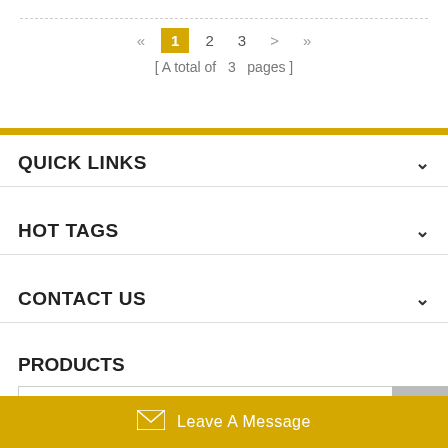« 1 2 3 > »
[ A total of  3  pages ]
QUICK LINKS
HOT TAGS
CONTACT US
PRODUCTS
Tel(Optinal)
TOP
Leave A Message